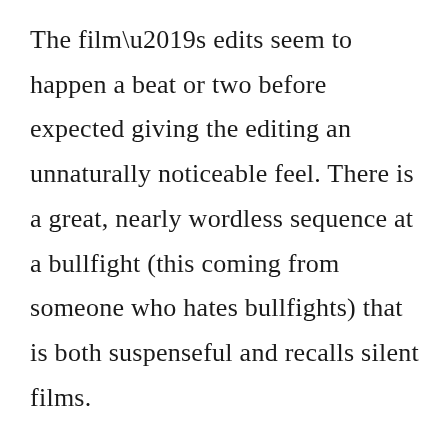The film’s edits seem to happen a beat or two before expected giving the editing an unnaturally noticeable feel. There is a great, nearly wordless sequence at a bullfight (this coming from someone who hates bullfights) that is both suspenseful and recalls silent films.

What else can I say that’s positive when it comes to such an unnecessary film? Well, Coster-Waldau is likable and handsome, Pearce is fun to watch as usual, and at least De